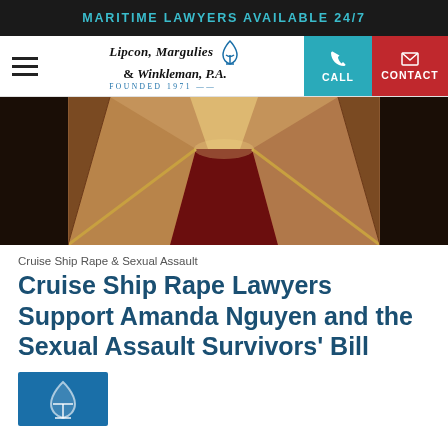MARITIME LAWYERS AVAILABLE 24/7
[Figure (logo): Lipcon, Margulies & Winkleman, P.A. Founded 1971 law firm logo with anchor icon, hamburger menu, CALL and CONTACT navigation buttons]
[Figure (photo): Interior corridor/hallway of a cruise ship with red carpet, wooden walls and handrails leading into the distance]
Cruise Ship Rape & Sexual Assault
Cruise Ship Rape Lawyers Support Amanda Nguyen and the Sexual Assault Survivors' Bill
[Figure (logo): Lipcon Margulies anchor logo icon in teal/blue square]